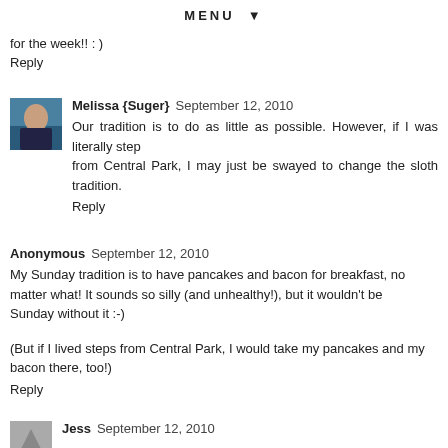MENU ▼
for the week!! : )
Reply
Melissa {Suger}  September 12, 2010
Our tradition is to do as little as possible. However, if I was literally step from Central Park, I may just be swayed to change the sloth tradition.
Reply
Anonymous  September 12, 2010
My Sunday tradition is to have pancakes and bacon for breakfast, no matter what! It sounds so silly (and unhealthy!), but it wouldn't be Sunday without it :-)
(But if I lived steps from Central Park, I would take my pancakes and my bacon there, too!)
Reply
Jess  September 12, 2010